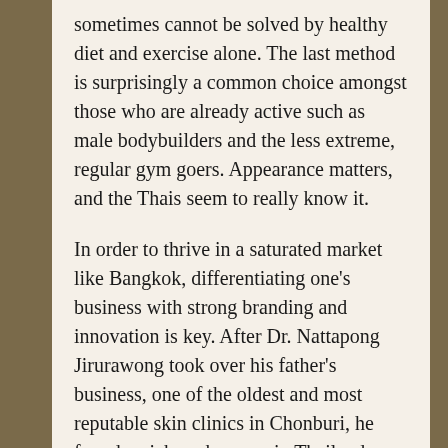sometimes cannot be solved by healthy diet and exercise alone. The last method is surprisingly a common choice amongst those who are already active such as male bodybuilders and the less extreme, regular gym goers. Appearance matters, and the Thais seem to really know it.
In order to thrive in a saturated market like Bangkok, differentiating one's business with strong branding and innovation is key. After Dr. Nattapong Jirurawong took over his father's business, one of the oldest and most reputable skin clinics in Chonburi, he found a niche sub-group in Thailand—the demand for safe and effective tattoo removal—and formed the Dr.TATTOF brand, moving on to being the first medical provider in Thailand to treat patients with US-imported and FDA-approved PicoWay. Five